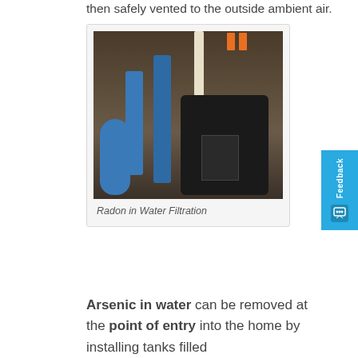then safely vented to the outside ambient air.
[Figure (photo): Photograph of a radon in water filtration system installed in a basement, showing blue filtration cylinders, a tall white pipe, a large black tank, a small blue pressure tank, and orange tags.]
Radon in Water Filtration
Arsenic in water can be removed at the point of entry into the home by installing tanks filled